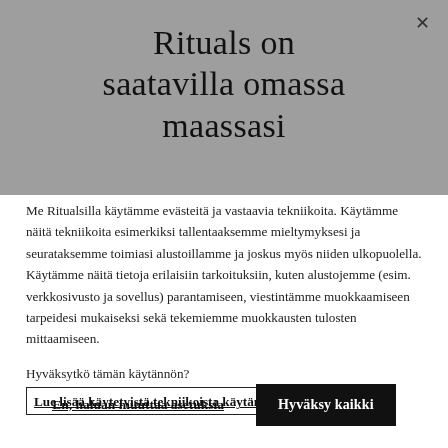Rituals on saatavilla omassa maassasi
Me Ritualsilla käytämme evästeitä ja vastaavia tekniikoita. Käytämme näitä tekniikoita esimerkiksi tallentaaksemme mieltymyksesi ja seurataksemme toimiasi alustoillamme ja joskus myös niiden ulkopuolella. Käytämme näitä tietoja erilaisiin tarkoituksiin, kuten alustojemme (esim. verkkosivusto ja sovellus) parantamiseen, viestintämme muokkaamiseen tarpeidesi mukaiseksi sekä tekemiemme muokkausten tulosten mittaamiseen.
Hyväksytkö tämän käytännön?
Lue lisää käytetyistä tekniikoista käytännöstämme.
En, haluan muuttaa asetuksia
Hyväksy kaikki